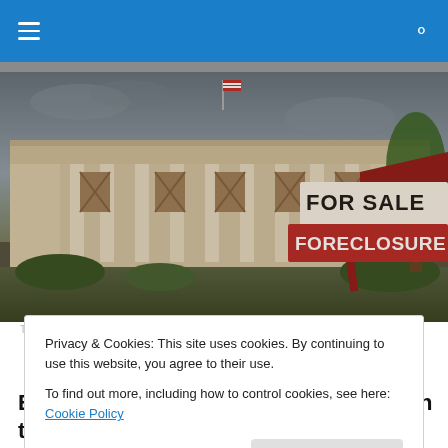Navigation bar with hamburger menu and search icon
[Figure (photo): Sepia-toned photo of the White House with a red FOR SALE / FORECLOSURE real estate sign overlaid in the bottom right]
TAGGED WITH REPORT
Privacy & Cookies: This site uses cookies. By continuing to use this website, you agree to their use.
To find out more, including how to control cookies, see here: Cookie Policy
Close and accept
Even some individuals who work within the belly of the